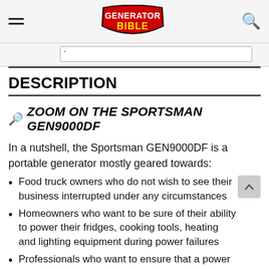Generator Bible – navigation header with hamburger menu, logo, and search icon
DESCRIPTION
🔭 ZOOM ON THE SPORTSMAN GEN9000DF
In a nutshell, the Sportsman GEN9000DF is a portable generator mostly geared towards:
Food truck owners who do not wish to see their business interrupted under any circumstances
Homeowners who want to be sure of their ability to power their fridges, cooking tools, heating and lighting equipment during power failures
Professionals who want to ensure that a power